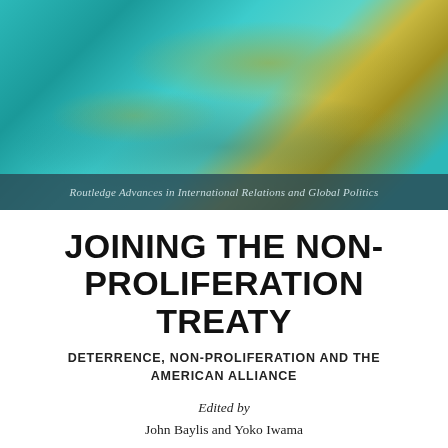[Figure (illustration): Book cover artwork: abstract teal and gold/yellow painted texture resembling a world map or landscape, with series name bar overlay]
Routledge Advances in International Relations and Global Politics
JOINING THE NON-PROLIFERATION TREATY
DETERRENCE, NON-PROLIFERATION AND THE AMERICAN ALLIANCE
Edited by
John Baylis and Yoko Iwama
[Figure (illustration): Bottom strip of the same abstract teal and gold book cover artwork]